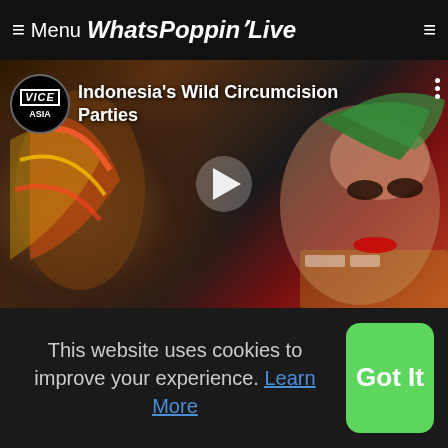≡ Menu WhatsPoppinLive
[Figure (screenshot): Vice Asia video thumbnail showing Indonesia's Wild Circumcision Parties with a child in traditional festival costume makeup and a play button overlay]
'Undateables' blossoming relationship
(WSHH Exclusive - Official Music
This website uses cookies to improve your experience. Learn More